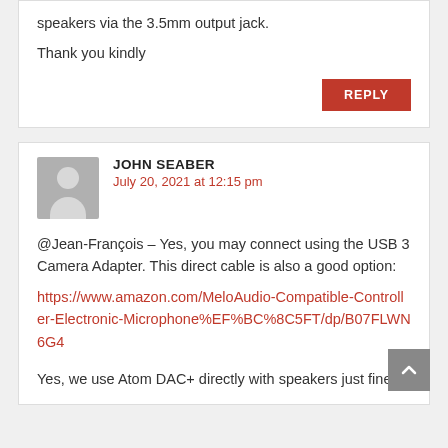speakers via the 3.5mm output jack.
Thank you kindly
REPLY
JOHN SEABER
July 20, 2021 at 12:15 pm
@Jean-François – Yes, you may connect using the USB 3 Camera Adapter. This direct cable is also a good option:
https://www.amazon.com/MeloAudio-Compatible-Controller-Electronic-Microphone%EF%BC%8C5FT/dp/B07FLWN6G4
Yes, we use Atom DAC+ directly with speakers just fine.